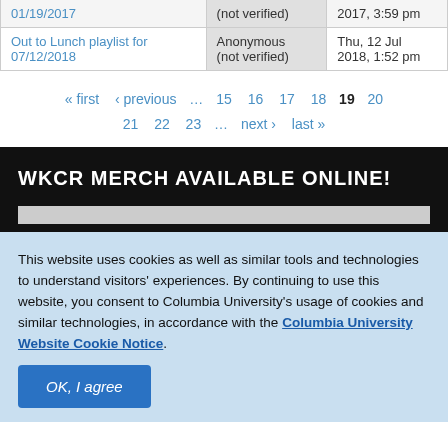| Title | Author | Date |
| --- | --- | --- |
| 01/19/2017 | (not verified) | 2017, 3:59pm |
| Out to Lunch playlist for 07/12/2018 | Anonymous (not verified) | Thu, 12 Jul 2018, 1:52pm |
« first ‹ previous … 15 16 17 18 19 20 21 22 23 … next › last »
WKCR MERCH AVAILABLE ONLINE!
This website uses cookies as well as similar tools and technologies to understand visitors' experiences. By continuing to use this website, you consent to Columbia University's usage of cookies and similar technologies, in accordance with the Columbia University Website Cookie Notice.
OK, I agree